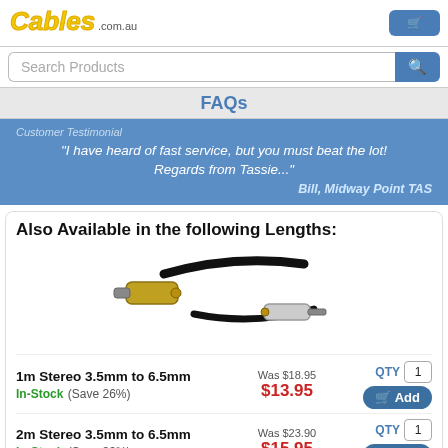Cables.com.au logo and cart button
Search Products
FAQs
Customer Testimonial
"I have heard of fast service, but you must beat the lot! Regards from Tassie..."
Bill, Midway Point TAS
Also Available in the following Lengths:
[Figure (photo): Photo of stereo 3.5mm to 6.5mm audio cable connector ends]
1m Stereo 3.5mm to 6.5mm  Was $18.95  QTY 1  In-Stock (Save 26%)  $13.95  Add
2m Stereo 3.5mm to 6.5mm  Was $23.90  QTY 1  In-Stock (Save 33%)  $15.95  Add